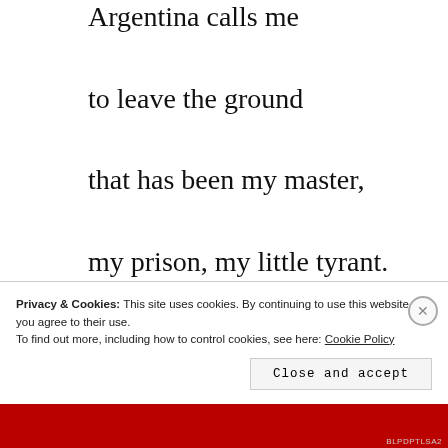Argentina calls me
to leave the ground
that has been my master,
my prison, my little tyrant.
It will remove the scales
from my mourning eyes.
Privacy & Cookies: This site uses cookies. By continuing to use this website, you agree to their use.
To find out more, including how to control cookies, see here: Cookie Policy
Close and accept